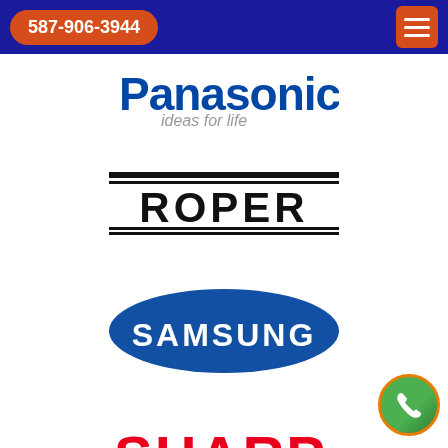587-906-3944
[Figure (logo): Panasonic logo with tagline 'ideas for life']
[Figure (logo): ROPER brand logo in black with horizontal bars above and below]
[Figure (logo): Samsung logo in blue ellipse]
[Figure (logo): SHARP logo in red with tagline 'Be Original.']